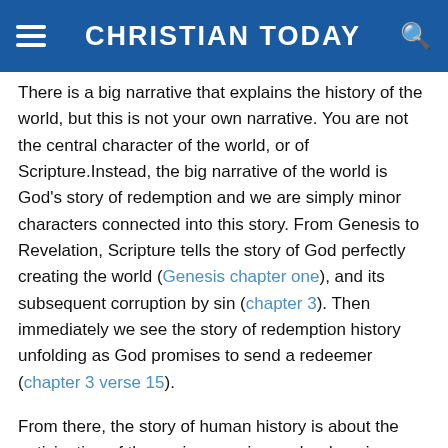CHRISTIAN TODAY
There is a big narrative that explains the history of the world, but this is not your own narrative. You are not the central character of the world, or of Scripture.Instead, the big narrative of the world is God's story of redemption and we are simply minor characters connected into this story. From Genesis to Revelation, Scripture tells the story of God perfectly creating the world (Genesis chapter one), and its subsequent corruption by sin (chapter 3). Then immediately we see the story of redemption history unfolding as God promises to send a redeemer (chapter 3 verse 15).
From there, the story of human history is about the anticipation of the saviour coming and redeeming us—everything points to Him. Once He arrives, the story becomes about pointing people to Him and awaiting His